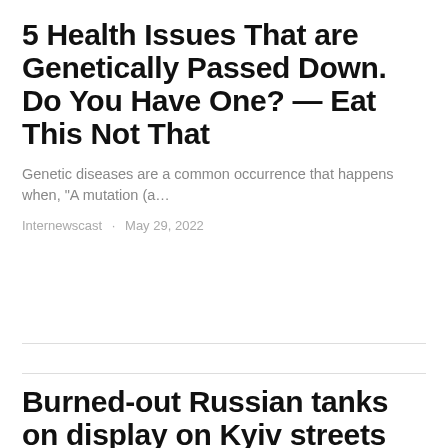5 Health Issues That are Genetically Passed Down. Do You Have One? — Eat This Not That
Genetic diseases are a common occurrence that happens when, "A mutation (a…
Internewscast · May 29, 2022
Burned-out Russian tanks on display on Kyiv streets as